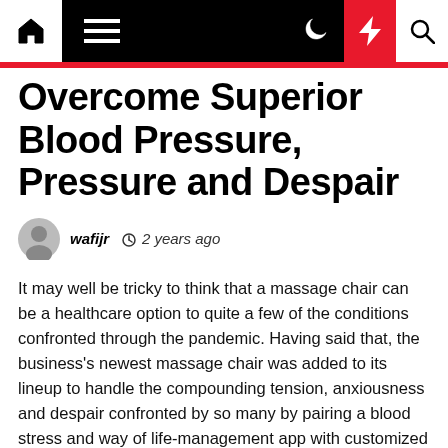Navigation bar with home, menu, moon, bolt, and search icons
Overcome Superior Blood Pressure, Pressure and Despair
wafijr  2 years ago
It may well be tricky to think that a massage chair can be a healthcare option to quite a few of the conditions confronted through the pandemic. Having said that, the business's newest massage chair was added to its lineup to handle the compounding tension, anxiousness and despair confronted by so many by pairing a blood stress and way of life-management app with customized